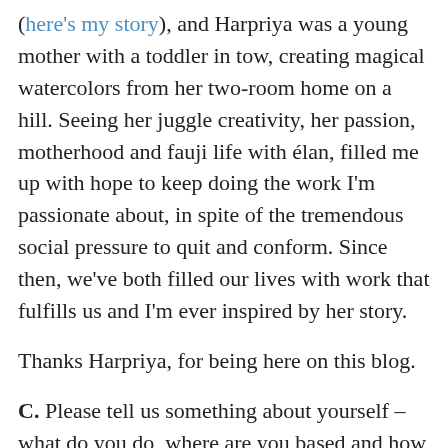(here's my story), and Harpriya was a young mother with a toddler in tow, creating magical watercolors from her two-room home on a hill. Seeing her juggle creativity, her passion, motherhood and fauji life with élan, filled me up with hope to keep doing the work I'm passionate about, in spite of the tremendous social pressure to quit and conform. Since then, we've both filled our lives with work that fulfills us and I'm ever inspired by her story.
Thanks Harpriya, for being here on this blog.
C. Please tell us something about yourself – what do you do, where are you based and how long have you been a fauji wife.
H. I have been married to Col AS Bains for